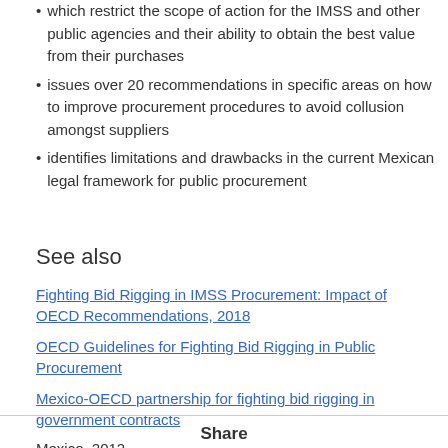which restrict the scope of action for the IMSS and other public agencies and their ability to obtain the best value from their purchases
issues over 20 recommendations in specific areas on how to improve procurement procedures to avoid collusion amongst suppliers
identifies limitations and drawbacks in the current Mexican legal framework for public procurement
See also
Fighting Bid Rigging in IMSS Procurement: Impact of OECD Recommendations, 2018
OECD Guidelines for Fighting Bid Rigging in Public Procurement
Mexico-OECD partnership for fighting bid rigging in government contracts
Mexico, 2012
Share